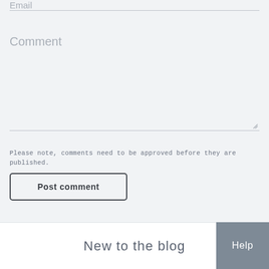Email
Comment
Please note, comments need to be approved before they are published.
Post comment
New to the blog
Help